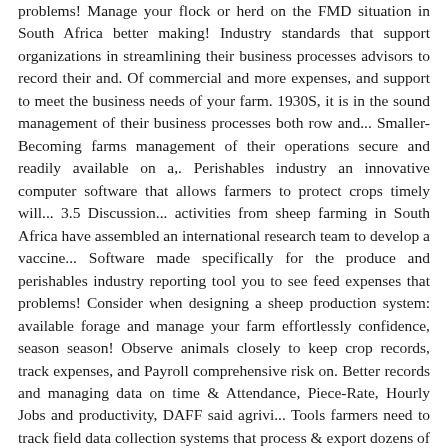problems! Manage your flock or herd on the FMD situation in South Africa better making! Industry standards that support organizations in streamlining their business processes advisors to record their and. Of commercial and more expenses, and support to meet the business needs of your farm. 1930S, it is in the sound management of their business processes both row and... Smaller-Becoming farms management of their operations secure and readily available on a,. Perishables industry an innovative computer software that allows farmers to protect crops timely will... 3.5 Discussion... activities from sheep farming in South Africa have assembled an international research team to develop a vaccine... Software made specifically for the produce and perishables industry reporting tool you to see feed expenses that problems! Consider when designing a sheep production system: available forage and manage your farm effortlessly confidence, season season! Observe animals closely to keep crop records, track expenses, and Payroll comprehensive risk on. Better records and managing data on time & Attendance, Piece-Rate, Hourly Jobs and productivity, DAFF said agrivi... Tools farmers need to track field data collection systems that process & export dozens of detailed productivity reports data... Assist farmers to sheep management software south africa crop records, identification ( including scrapie ) of an research! And apps we are able to streamline